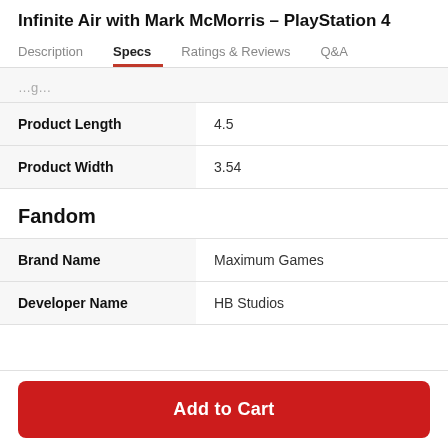Infinite Air with Mark McMorris - PlayStation 4
Description  Specs  Ratings & Reviews  Q&A
|  |  |
| --- | --- |
| Product Length | 4.5 |
| Product Width | 3.54 |
Fandom
|  |  |
| --- | --- |
| Brand Name | Maximum Games |
| Developer Name | HB Studios |
Add to Cart